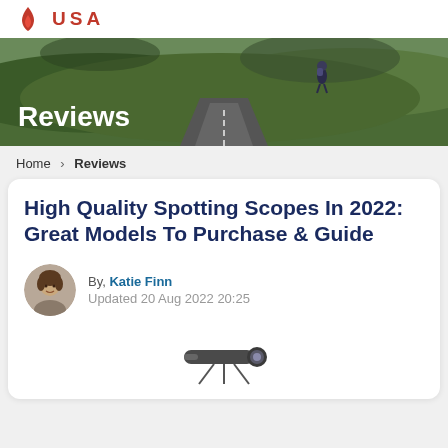USA - Reviews
[Figure (photo): Hero banner with a cyclist riding on a road through green hills, with 'Reviews' text overlaid in white]
Home > Reviews
High Quality Spotting Scopes In 2022: Great Models To Purchase & Guide
By, Katie Finn - Updated 20 Aug 2022 20:25
[Figure (photo): Partially visible product image at the bottom of the page]